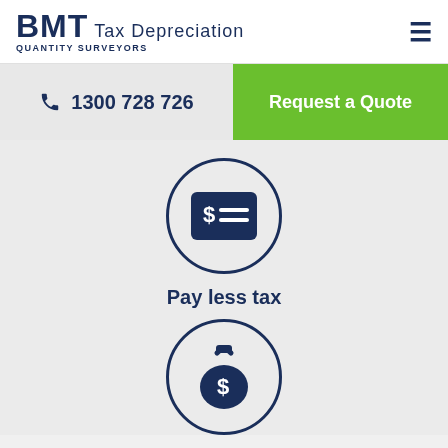[Figure (logo): BMT Tax Depreciation Quantity Surveyors logo]
1300 728 726
Request a Quote
[Figure (illustration): Circle icon with a dollar bill/cheque symbol inside, dark navy background rectangle]
Pay less tax
[Figure (illustration): Circle icon with a money bag with dollar sign]